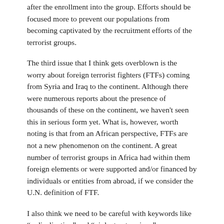after the enrollment into the group. Efforts should be focused more to prevent our populations from becoming captivated by the recruitment efforts of the terrorist groups.
The third issue that I think gets overblown is the worry about foreign terrorist fighters (FTFs) coming from Syria and Iraq to the continent. Although there were numerous reports about the presence of thousands of these on the continent, we haven't seen this in serious form yet. What is, however, worth noting is that from an African perspective, FTFs are not a new phenomenon on the continent. A great number of terrorist groups in Africa had within them foreign elements or were supported and/or financed by individuals or entities from abroad, if we consider the U.N. definition of FTF.
I also think we need to be careful with keywords like “radicalization” and “violent extremism,” countering/combating/preventing violent extremism, etc. This is creating more confusion among member states. The obligation among member states has been...